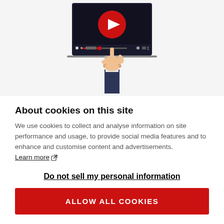[Figure (illustration): Illustration of a hand in a suit clicking a video player on a monitor screen. The video player shows a red play button circle on a dark background with playback controls at the bottom.]
About cookies on this site
We use cookies to collect and analyse information on site performance and usage, to provide social media features and to enhance and customise content and advertisements. Learn more
Do not sell my personal information
ALLOW ALL COOKIES